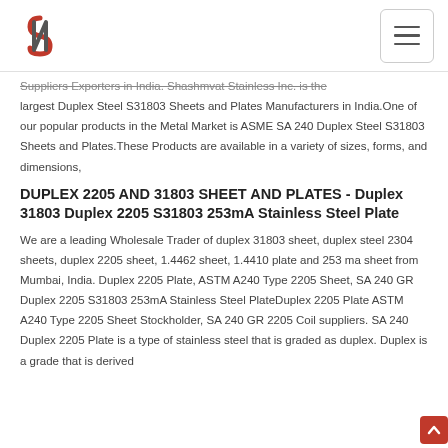Logo and navigation menu
Suppliers Exporters in India. Shashmvat Stainless Inc. is the largest Duplex Steel S31803 Sheets and Plates Manufacturers in India.One of our popular products in the Metal Market is ASME SA 240 Duplex Steel S31803 Sheets and Plates.These Products are available in a variety of sizes, forms, and dimensions,
DUPLEX 2205 AND 31803 SHEET AND PLATES - Duplex 31803 Duplex 2205 S31803 253mA Stainless Steel Plate
We are a leading Wholesale Trader of duplex 31803 sheet, duplex steel 2304 sheets, duplex 2205 sheet, 1.4462 sheet, 1.4410 plate and 253 ma sheet from Mumbai, India. Duplex 2205 Plate, ASTM A240 Type 2205 Sheet, SA 240 GR Duplex 2205 S31803 253mA Stainless Steel PlateDuplex 2205 Plate ASTM A240 Type 2205 Sheet Stockholder, SA 240 GR 2205 Coil suppliers. SA 240 Duplex 2205 Plate is a type of stainless steel that is graded as duplex. Duplex is a grade that is derived